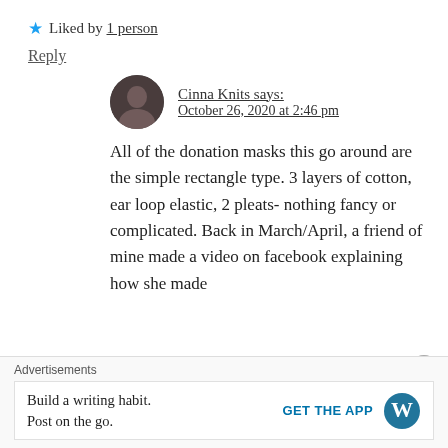★ Liked by 1 person
Reply
Cinna Knits says: October 26, 2020 at 2:46 pm
All of the donation masks this go around are the simple rectangle type. 3 layers of cotton, ear loop elastic, 2 pleats- nothing fancy or complicated. Back in March/April, a friend of mine made a video on facebook explaining how she made
Advertisements
Build a writing habit. Post on the go.
GET THE APP